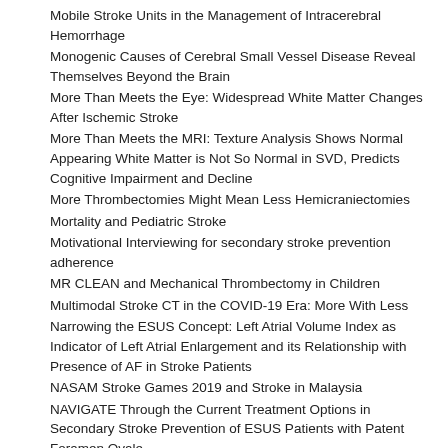Mobile Stroke Units in the Management of Intracerebral Hemorrhage
Monogenic Causes of Cerebral Small Vessel Disease Reveal Themselves Beyond the Brain
More Than Meets the Eye: Widespread White Matter Changes After Ischemic Stroke
More Than Meets the MRI: Texture Analysis Shows Normal Appearing White Matter is Not So Normal in SVD, Predicts Cognitive Impairment and Decline
More Thrombectomies Might Mean Less Hemicraniectomies
Mortality and Pediatric Stroke
Motivational Interviewing for secondary stroke prevention adherence
MR CLEAN and Mechanical Thrombectomy in Children
Multimodal Stroke CT in the COVID-19 Era: More With Less
Narrowing the ESUS Concept: Left Atrial Volume Index as Indicator of Left Atrial Enlargement and its Relationship with Presence of AF in Stroke Patients
NASAM Stroke Games 2019 and Stroke in Malaysia
NAVIGATE Through the Current Treatment Options in Secondary Stroke Prevention of ESUS Patients with Patent Foramen Ovale
Navigating Major Bleeding and Embolic Strokes of Undetermined Source
Neuronal Loss in Ischemic Stroke: Time is Relative
Neurons Over Nephrons Still Holds True
Neurons Over Nephrons? The Impact of Blood Pressure Reduction in Acute